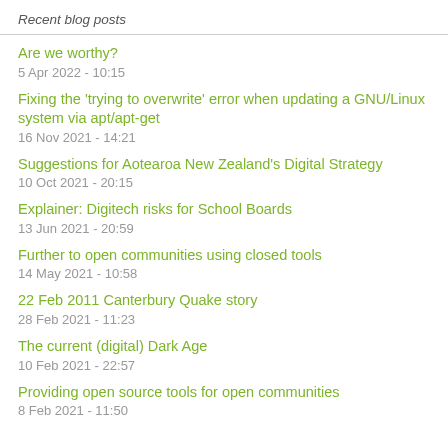Recent blog posts
Are we worthy?
5 Apr 2022 - 10:15
Fixing the 'trying to overwrite' error when updating a GNU/Linux system via apt/apt-get
16 Nov 2021 - 14:21
Suggestions for Aotearoa New Zealand's Digital Strategy
10 Oct 2021 - 20:15
Explainer: Digitech risks for School Boards
13 Jun 2021 - 20:59
Further to open communities using closed tools
14 May 2021 - 10:58
22 Feb 2011 Canterbury Quake story
28 Feb 2021 - 11:23
The current (digital) Dark Age
10 Feb 2021 - 22:57
Providing open source tools for open communities
8 Feb 2021 - 11:50